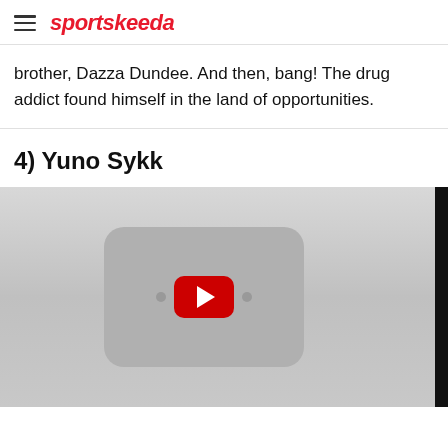sportskeeda
brother, Dazza Dundee. And then, bang! The drug addict found himself in the land of opportunities.
4) Yuno Sykk
[Figure (screenshot): YouTube video embed placeholder showing a grey YouTube player with a red play button in the center]